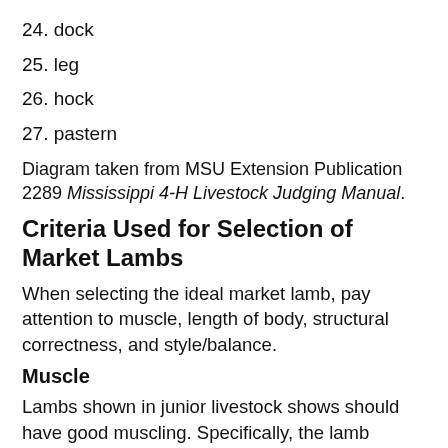24. dock
25. leg
26. hock
27. pastern
Diagram taken from MSU Extension Publication 2289 Mississippi 4-H Livestock Judging Manual.
Criteria Used for Selection of Market Lambs
When selecting the ideal market lamb, pay attention to muscle, length of body, structural correctness, and style/balance.
Muscle
Lambs shown in junior livestock shows should have good muscling. Specifically, the lamb should have firm, hard